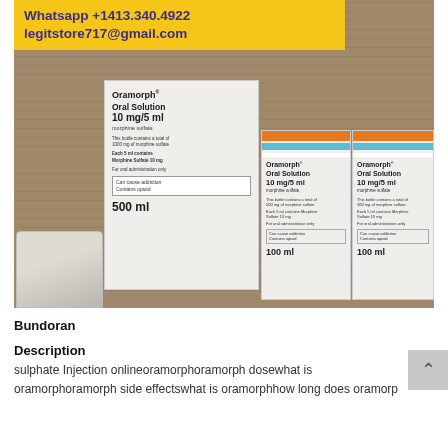[Figure (photo): Photo showing three boxes of Oramorph Oral Solution 10mg/5ml (morphine sulfate) — one 500ml box and two 100ml boxes — displayed on a wooden surface. A yellow banner overlay at the top shows contact information for an illegal drug seller.]
Bundoran
Description
sulphate Injection onlineoramorphoramorph dosewhat is oramorphoramorph side effectswhat is oramorphhow long does oramorp